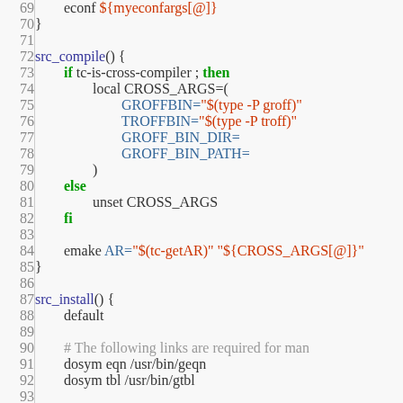[Figure (screenshot): Source code listing in a shell/bash script (ebuild), lines 69-99, showing src_compile() and src_install() functions with syntax highlighting: green for keywords, blue for variables, red for strings, gray for comments, dark for plain text.]